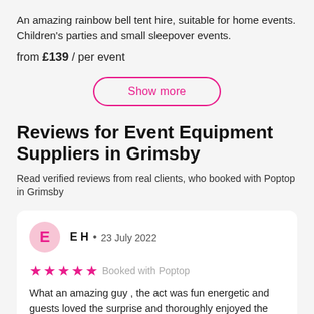An amazing rainbow bell tent hire, suitable for home events. Children's parties and small sleepover events.
from £139 / per event
Show more
Reviews for Event Equipment Suppliers in Grimsby
Read verified reviews from real clients, who booked with Poptop in Grimsby
E H • 23 July 2022
★★★★★ Booked with Poptop
What an amazing guy , the act was fun energetic and guests loved the surprise and thoroughly enjoyed the